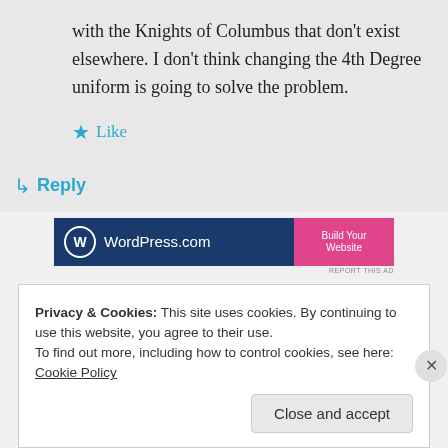with the Knights of Columbus that don't exist elsewhere. I don't think changing the 4th Degree uniform is going to solve the problem.
★ Like
↳ Reply
[Figure (screenshot): WordPress.com advertisement banner with blue background, WordPress logo, and 'Build Your Website' pink button]
REPORT THIS AD
Privacy & Cookies: This site uses cookies. By continuing to use this website, you agree to their use.
To find out more, including how to control cookies, see here: Cookie Policy
Close and accept